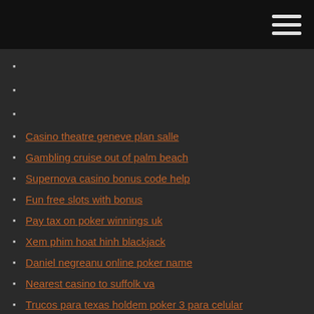[navigation menu bar with hamburger icon]
Casino theatre geneve plan salle
Gambling cruise out of palm beach
Supernova casino bonus code help
Fun free slots with bonus
Pay tax on poker winnings uk
Xem phim hoat hinh blackjack
Daniel negreanu online poker name
Nearest casino to suffolk va
Trucos para texas holdem poker 3 para celular
River rock casino richmond va
Is blackjack a form of poker